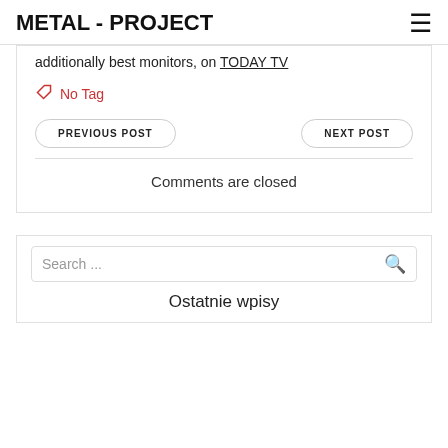METAL - PROJECT
additionally best monitors, on TODAY TV
No Tag
PREVIOUS POST
NEXT POST
Comments are closed
Search ...
Ostatnie wpisy